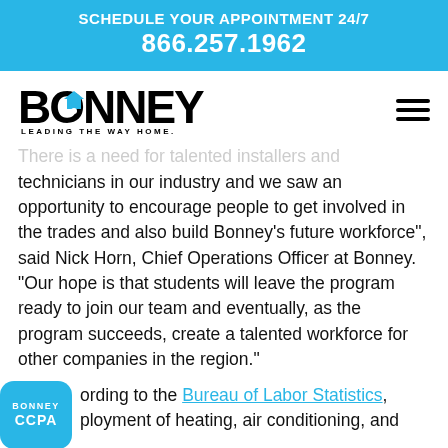SCHEDULE YOUR APPOINTMENT 24/7
866.257.1962
[Figure (logo): Bonney logo with house icon and tagline LEADING THE WAY HOME.]
There is a need for talented installers and technicians in our industry and we saw an opportunity to encourage people to get involved in the trades and also build Bonney's future workforce", said Nick Horn, Chief Operations Officer at Bonney. "Our hope is that students will leave the program ready to join our team and eventually, as the program succeeds, create a talented workforce for other companies in the region."
...ording to the Bureau of Labor Statistics, ...ployment of heating, air conditioning, and